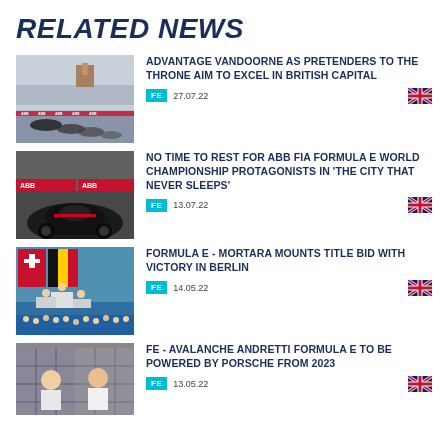RELATED NEWS
[Figure (photo): Formula E racing cars on track with ABB branding banners]
ADVANTAGE VANDOORNE AS PRETENDERS TO THE THRONE AIM TO EXCEL IN BRITISH CAPITAL
FE  27.07.22
[Figure (photo): Formula E black racing car with ABB branding on track]
NO TIME TO REST FOR ABB FIA FORMULA E WORLD CHAMPIONSHIP PROTAGONISTS IN 'THE CITY THAT NEVER SLEEPS'
FE  13.07.22
[Figure (photo): Formula E podium celebration with Swiss flag and crowd]
FORMULA E - MORTARA MOUNTS TITLE BID WITH VICTORY IN BERLIN
FE  14.05.22
[Figure (photo): Two men in white shirts at an event, Formula E announcement]
FE - AVALANCHE ANDRETTI FORMULA E TO BE POWERED BY PORSCHE FROM 2023
FE  13.05.22